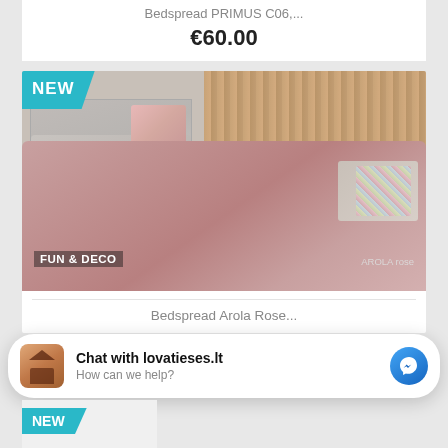Bedspread PRIMUS C06,...
€60.00
[Figure (photo): Bedspread Arola Rose product photo showing a pink quilted bedspread on a bed with floral pillows and wooden slat headboard background. NEW badge in teal top-left. FUN & DECO brand label bottom-left. AROLA rose text bottom-right.]
Bedspread Arola Rose...
Chat with lovatieses.lt
How can we help?